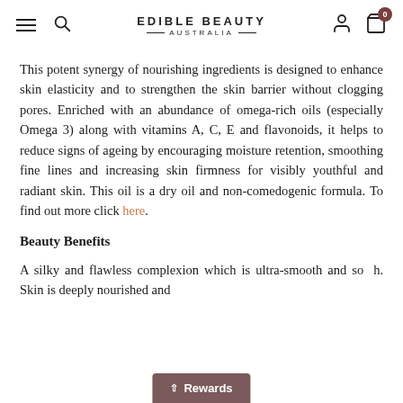EDIBLE BEAUTY AUSTRALIA
This potent synergy of nourishing ingredients is designed to enhance skin elasticity and to strengthen the skin barrier without clogging pores. Enriched with an abundance of omega-rich oils (especially Omega 3) along with vitamins A, C, E and flavonoids, it helps to reduce signs of ageing by encouraging moisture retention, smoothing fine lines and increasing skin firmness for visibly youthful and radiant skin. This oil is a dry oil and non-comedogenic formula. To find out more click here.
Beauty Benefits
A silky and flawless complexion which is ultra-smooth and so... h. Skin is deeply nourished and